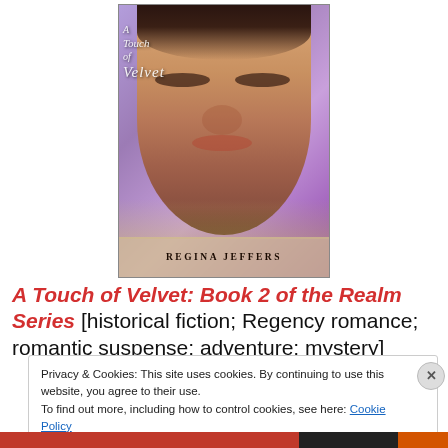[Figure (illustration): Book cover for 'A Touch of Velvet' by Regina Jeffers. Purple damask background with a close-up portrait of a South Asian woman wearing jewelry and an off-shoulder dress. Title in white italic script overlaid on the cover. Author name 'REGINA JEFFERS' in gold band at bottom.]
A Touch of Velvet: Book 2 of the Realm Series [historical fiction; Regency romance; romantic suspense; adventure; mystery]
Privacy & Cookies: This site uses cookies. By continuing to use this website, you agree to their use.
To find out more, including how to control cookies, see here: Cookie Policy